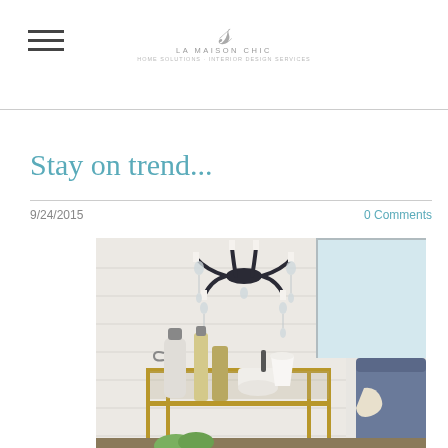LA MAISON CHIC
Stay on trend...
9/24/2015
0 Comments
[Figure (photo): Interior design photo showing a gold bar cart with bottles and white mortar and pestle, a dark iron chandelier with crystal/shell drops above, and a navy velvet sofa partially visible on the right. White shiplap walls in background.]